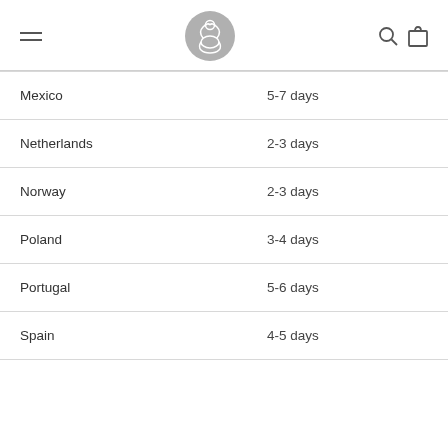Navigation header with hamburger menu, logo, search and bag icons
| Mexico | 5-7 days |
| Netherlands | 2-3 days |
| Norway | 2-3 days |
| Poland | 3-4 days |
| Portugal | 5-6 days |
| Spain | 4-5 days |